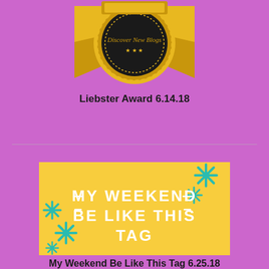[Figure (illustration): Liebster Award badge: gold ribbon with dark circular medallion center labeled 'Discover New Blogs' with stars]
Liebster Award 6.14.18
[Figure (illustration): Yellow card with teal flower decorations and white bold text reading 'MY WEEKEND BE LIKE THIS TAG']
My Weekend Be Like This Tag 6.25.18